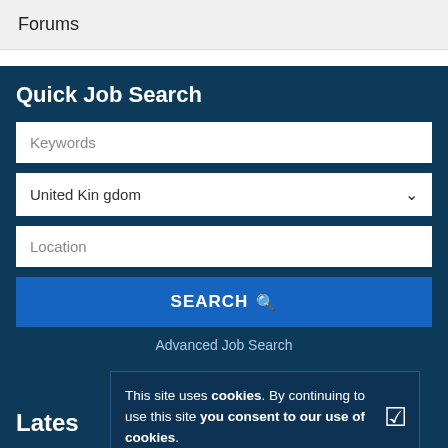Forums
Quick Job Search
Keywords
United Kingdom
Location
SEARCH
Advanced Job Search
Lates
HR Adviser
This site uses cookies. By continuing to use this site you consent to our use of cookies.